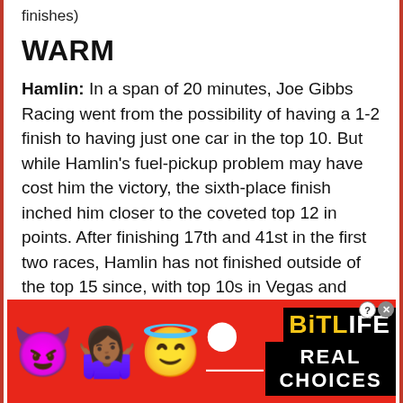finishes)
WARM
Hamlin: In a span of 20 minutes, Joe Gibbs Racing went from the possibility of having a 1-2 finish to having just one car in the top 10. But while Hamlin’s fuel-pickup problem may have cost him the victory, the sixth-place finish inched him closer to the coveted top 12 in points. After finishing 17th and 41st in the first two races, Hamlin has not finished outside of the top 15 since, with top 10s in Vegas and Bristol to show for his efforts.
[Figure (illustration): Advertisement banner for BitLife game with red background, emoji icons (devil, woman shrugging, angel), sperm icon, BitLife logo in yellow and white on black, and REAL CHOICES text in white on black.]